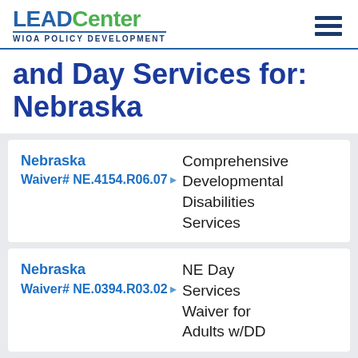LEAD Center WIOA POLICY DEVELOPMENT
and Day Services for: Nebraska
| Waiver | Program |
| --- | --- |
| Nebraska Waiver# NE.4154.R06.07 | Comprehensive Developmental Disabilities Services |
| Nebraska Waiver# NE.0394.R03.02 | NE Day Services Waiver for Adults w/DD |